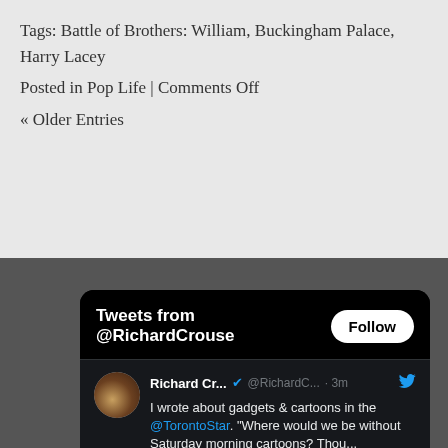Tags: Battle of Brothers: William, Buckingham Palace, Harry Lacey
Posted in Pop Life | Comments Off
« Older Entries
[Figure (screenshot): Twitter/X widget showing 'Tweets from @RichardCrouse' with a Follow button. A tweet from Richard Cr... @RichardC... · 3m with a verified badge reads: 'I wrote about gadgets & cartoons in the @TorontoStar. "Where would we be without Saturday morning cartoons? Thou...']